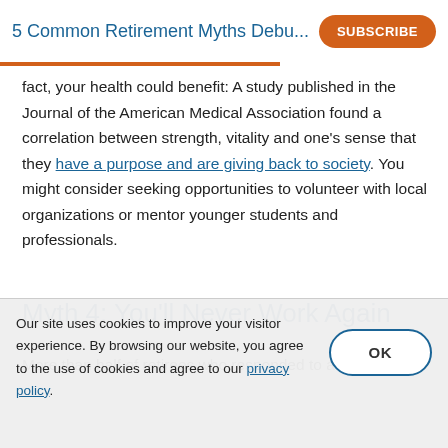5 Common Retirement Myths Debu... SUBSCRIBE
fact, your health could benefit: A study published in the Journal of the American Medical Association found a correlation between strength, vitality and one's sense that they have a purpose and are giving back to society. You might consider seeking opportunities to volunteer with local organizations or mentor younger students and professionals.
Myth 4: You'll Never Work Again
More than half of retirees who responded to a study
Our site uses cookies to improve your visitor experience. By browsing our website, you agree to the use of cookies and agree to our privacy policy.